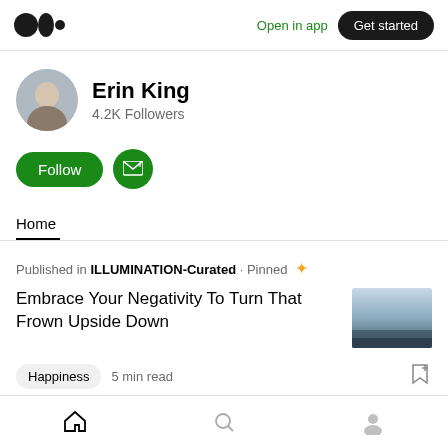Medium logo | Open in app | Get started
Erin King
4.2K Followers
Follow | Subscribe
Home
Published in ILLUMINATION-Curated · Pinned
Embrace Your Negativity To Turn That Frown Upside Down
Happiness  5 min read
Home | Search | Profile